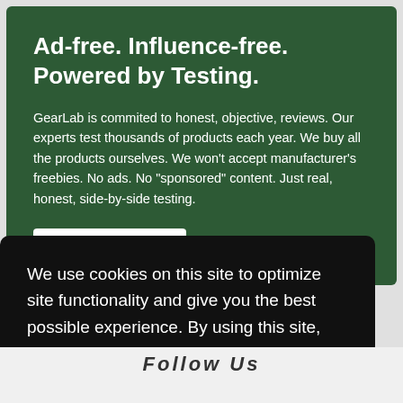Ad-free. Influence-free. Powered by Testing.
GearLab is commited to honest, objective, reviews. Our experts test thousands of products each year. We buy all the products ourselves. We won't accept manufacturer's freebies. No ads. No "sponsored" content. Just real, honest, side-by-side testing.
We use cookies on this site to optimize site functionality and give you the best possible experience. By using this site, you accept our use of cookies. Learn more
Got it!
Follow Us